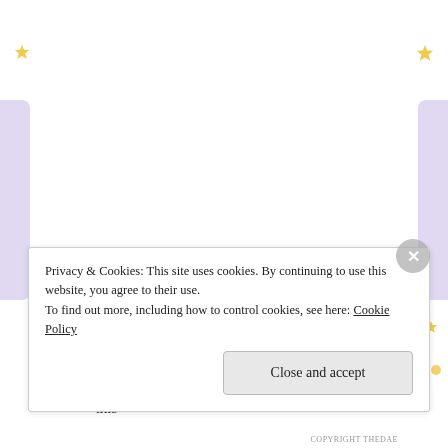[Figure (illustration): Decorative background: yellow star top-left, purple lavender sprigs on left and right sides, yellow stars on right side]
It was also my first ever buddy read with the rad Meltotheany and go read her review because it's brilliant.
I found out there's a freaking Santa Bruce book out this
Privacy & Cookies: This site uses cookies. By continuing to use this website, you agree to their use.
To find out more, including how to control cookies, see here: Cookie Policy
Close and accept